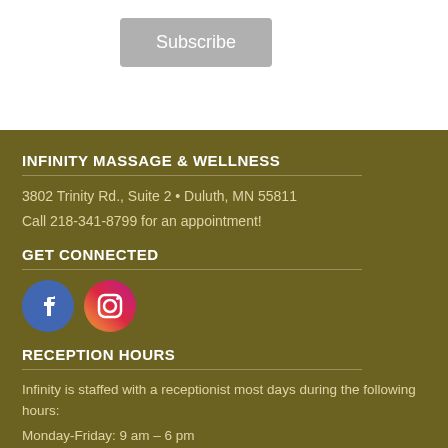Subscribe
INFINITY MASSAGE & WELLNESS
3802 Trinity Rd., Suite 2 • Duluth, MN 55811
Call 218-341-8799 for an appointment!
GET CONNECTED
[Figure (logo): Facebook and Instagram social media icons]
RECEPTION HOURS
Infinity is staffed with a receptionist most days during the following hours:
Monday-Friday: 9 am – 6 pm